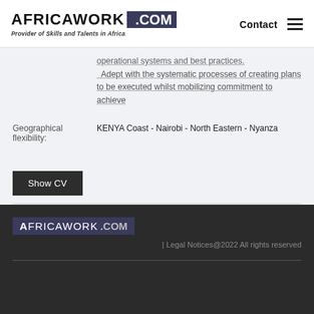AFRICAWORK .COM | Provider of Skills and Talents in Africa | Contact
Operational systems and best practices. Adept with the systematic processes of creating plans to be executed whilst mobilizing commitment to achieve
Geographical flexibility: KENYA Coast - Nairobi - North Eastern - Nyanza
Show CV
AFRICAWORK .COM | Legal Notices@2022 All rights reserved